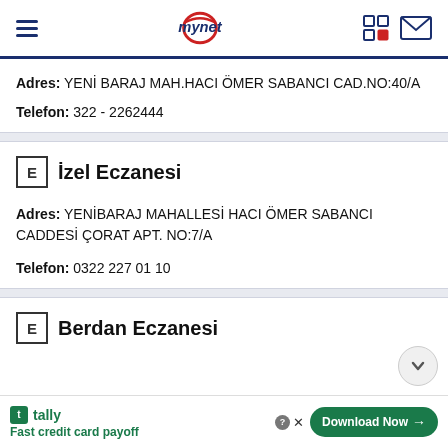mynet
Adres: YENİ BARAJ MAH.HACI ÖMER SABANCI CAD.NO:40/A
Telefon: 322 - 2262444
İzel Eczanesi
Adres: YENİBARAJ MAHALLESİ HACI ÖMER SABANCI CADDESİ ÇORAT APT. NO:7/A
Telefon: 0322 227 01 10
Berdan Eczanesi